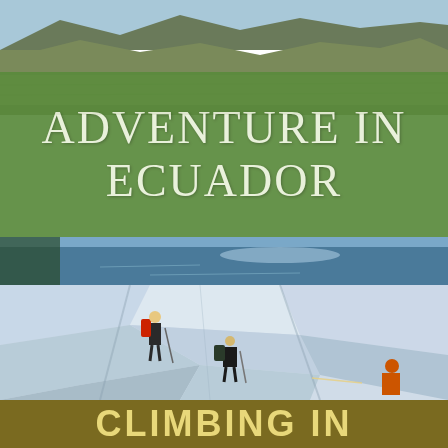[Figure (photo): Landscape photo of Ecuadorian highlands with mountains, plains, and blue sky at the top of the page]
ADVENTURE IN ECUADOR
[Figure (photo): Blue lake or water body with reflections, narrow horizontal strip]
[Figure (photo): Glacier climbing photo showing three mountaineers with red backpacks and equipment on an icy glacier surface]
CLIMBING IN